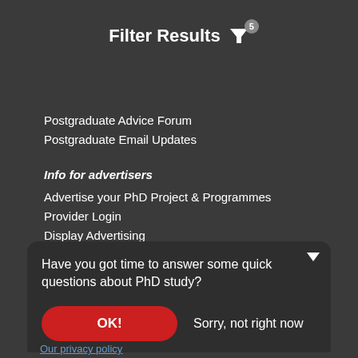Filter Results
Postgraduate Advice Forum
Postgraduate Email Updates
Info for advertisers
Advertise your PhD Project & Programmes
Provider Login
Display Advertising
Targeted Emails
[Figure (infographic): Social media icons: Facebook, Twitter, Instagram, YouTube]
FindAPhD. Copyright 2005-2022
Have you got time to answer some quick questions about PhD study?
OK!
Sorry, not right now
Our privacy policy